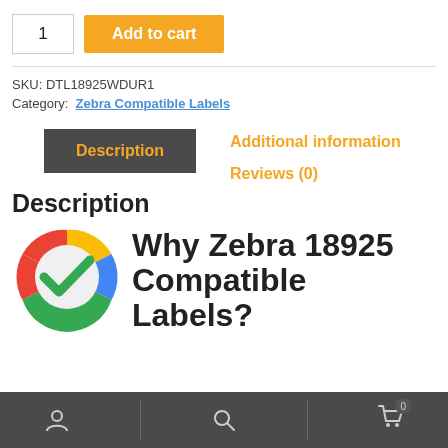1  Add to cart
SKU: DTL18925WDUR1
Category: Zebra Compatible Labels
Description
Additional information
Reviews (0)
Description
[Figure (logo): Google checkmark logo — circular logo with Google colors (red, yellow, green, blue) and a green checkmark in the center]
Why Zebra 18925
Compatible Labels?
Person icon | Search icon | Cart icon (0)